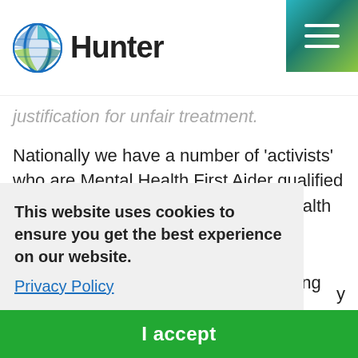Hunter
justification for unfair treatment.
Nationally we have a number of ‘activists’ who are Mental Health First Aider qualified who offer guidance around mental health and promote awareness and D&I initiatives.  We are passionate in promoting everyone ‘being able to bring your
This website uses cookies to ensure you get the best experience on our website.
Privacy Policy
I accept